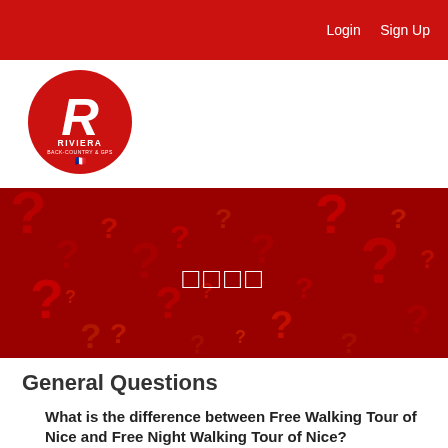Login   Sign Up
[Figure (logo): Riviera logo — red circle with large italic white R and RIVIERA text below]
[Figure (photo): Dark red banner filled with large red question mark symbols on a dark red background, with four small white square characters in the center]
General Questions
What is the difference between Free Walking Tour of Nice and Free Night Walking Tour of Nice?